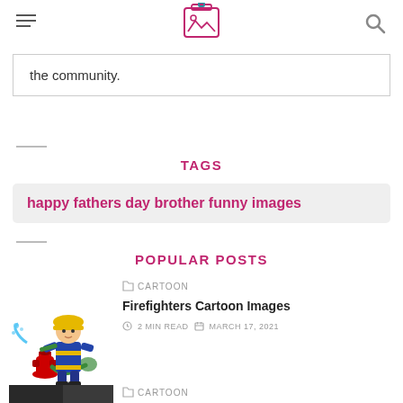[hamburger menu] [logo icon] [search icon]
the community.
TAGS
happy fathers day brother funny images
POPULAR POSTS
[Figure (illustration): Cartoon firefighter with hose at a fire hydrant]
CARTOON
Firefighters Cartoon Images
2 MIN READ   MARCH 17, 2021
[Figure (photo): Dark silhouette image at bottom of page]
CARTOON